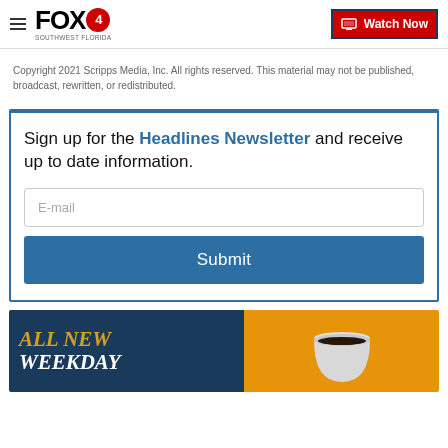FOX4 | Watch Now
Copyright 2021 Scripps Media, Inc. All rights reserved. This material may not be published, broadcast, rewritten, or redistributed.
Sign up for the Headlines Newsletter and receive up to date information.
[Figure (screenshot): Email input field with placeholder text 'E-mail' and a blue Submit button]
[Figure (screenshot): Promotional banner with dark blue and orange sections showing 'ALL NEW WEEKDAY' text with a coffee cup image]